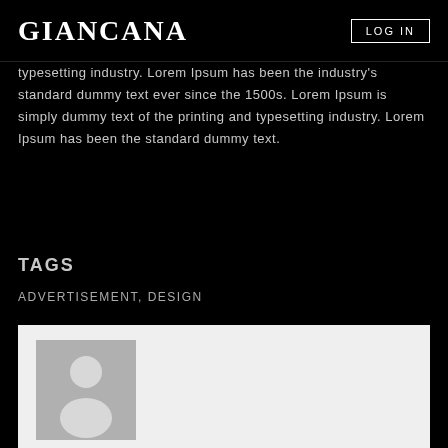GIANCANA
typesetting industry. Lorem Ipsum has been the industry's standard dummy text ever since the 1500s. Lorem Ipsum is simply dummy text of the printing and typesetting industry. Lorem Ipsum has been the standard dummy text.
TAGS
ADVERTISEMENT, DESIGN
[Figure (illustration): Generic user avatar placeholder image showing a silhouette of a person on a grey background]
ABOUT THE AUTHOR
CREATIVE@GIANCANA.COM